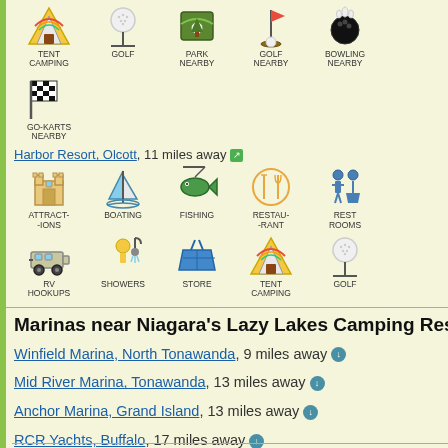[Figure (infographic): Icons row: Tent Camping, Golf, Park Nearby, Golf Nearby, Bowling Nearby, Go-Karts Nearby]
Harbor Resort, Olcott, 11 miles away
[Figure (infographic): Icons row: Attractions, Boating, Fishing, Restaurant, Rest Rooms, RV Hookups, Showers, Store, Tent Camping, Golf]
Marinas near Niagara's Lazy Lakes Camping Resort
Winfield Marina, North Tonawanda, 9 miles away
Mid River Marina, Tonawanda, 13 miles away
Anchor Marina, Grand Island, 13 miles away
RCR Yachts, Buffalo, 17 miles away
NFTA Boat Harbor, Buffalo, 18 miles away